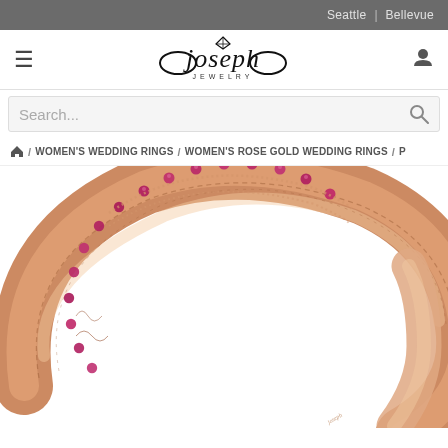Seattle | Bellevue
[Figure (logo): Joseph Jewelry logo with decorative infinity/bow motif and diamond icon, text reads 'joseph' in italic serif with 'JEWELRY' in small caps below]
Search...
🏠 / WOMEN'S WEDDING RINGS / WOMEN'S ROSE GOLD WEDDING RINGS / P
[Figure (photo): Close-up photo of a rose gold women's wedding band with pink/ruby gemstones set along the top edge in a pavé style, with intricate engraved floral scrollwork on the band sides, shot on white background]